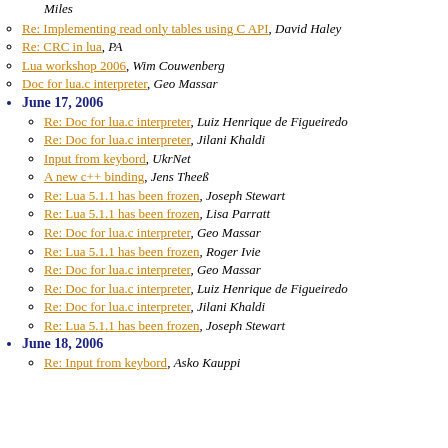Miles
Re: Implementing read only tables using C API, David Haley
Re: CRC in lua, PA
Lua workshop 2006, Wim Couwenberg
Doc for lua.c interpreter, Geo Massar
June 17, 2006
Re: Doc for lua.c interpreter, Luiz Henrique de Figueiredo
Re: Doc for lua.c interpreter, Jilani Khaldi
Input from keybord, UkrNet
A new c++ binding, Jens Theeß
Re: Lua 5.1.1 has been frozen, Joseph Stewart
Re: Lua 5.1.1 has been frozen, Lisa Parratt
Re: Doc for lua.c interpreter, Geo Massar
Re: Lua 5.1.1 has been frozen, Roger Ivie
Re: Doc for lua.c interpreter, Geo Massar
Re: Doc for lua.c interpreter, Luiz Henrique de Figueiredo
Re: Doc for lua.c interpreter, Jilani Khaldi
Re: Lua 5.1.1 has been frozen, Joseph Stewart
June 18, 2006
Re: Input from keybord, Asko Kauppi